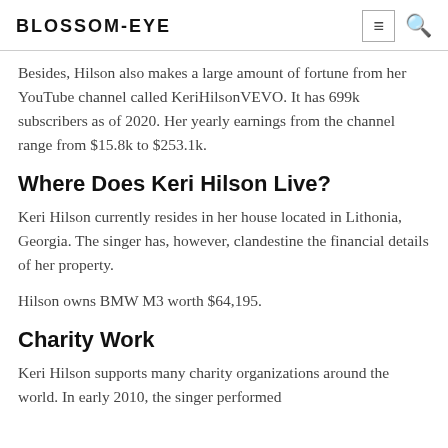BLOSSOM-EYE
Besides, Hilson also makes a large amount of fortune from her YouTube channel called KeriHilsonVEVO. It has 699k subscribers as of 2020. Her yearly earnings from the channel range from $15.8k to $253.1k.
Where Does Keri Hilson Live?
Keri Hilson currently resides in her house located in Lithonia, Georgia. The singer has, however, clandestine the financial details of her property.
Hilson owns BMW M3 worth $64,195.
Charity Work
Keri Hilson supports many charity organizations around the world. In early 2010, the singer performed